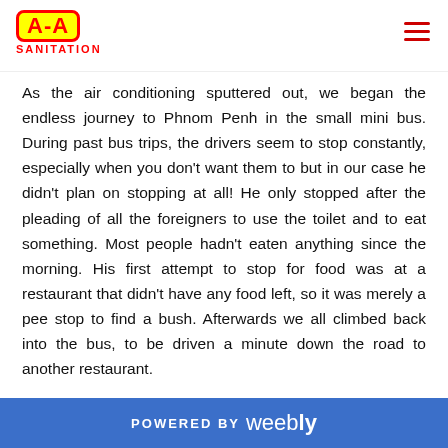A-A SANITATION
As the air conditioning sputtered out, we began the endless journey to Phnom Penh in the small mini bus. During past bus trips, the drivers seem to stop constantly, especially when you don't want them to but in our case he didn't plan on stopping at all! He only stopped after the pleading of all the foreigners to use the toilet and to eat something. Most people hadn't eaten anything since the morning. His first attempt to stop for food was at a restaurant that didn't have any food left, so it was merely a pee stop to find a bush. Afterwards we all climbed back into the bus, to be driven a minute down the road to another restaurant.
Tonia and I got what we think is pork wrapped in bread, and
POWERED BY weebly